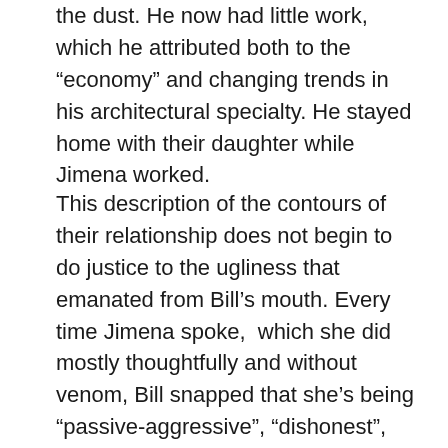the dust. He now had little work, which he attributed both to the “economy” and changing trends in his architectural specialty. He stayed home with their daughter while Jimena worked.
This description of the contours of their relationship does not begin to do justice to the ugliness that emanated from Bill’s mouth. Every time Jimena spoke, which she did mostly thoughtfully and without venom, Bill snapped that she’s being “passive-aggressive”, “dishonest”, “infantile” and any other disqualification he could think of, rolling his eyes with frustration at his hopeless wife. Crazily enough, this guy showed zero self-awareness that he sounded and acted like a jerk.